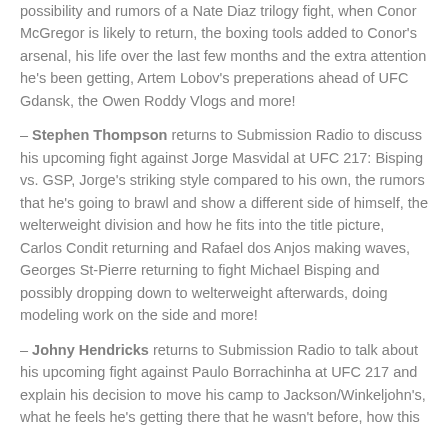possibility and rumors of a Nate Diaz trilogy fight, when Conor McGregor is likely to return, the boxing tools added to Conor's arsenal, his life over the last few months and the extra attention he's been getting, Artem Lobov's preperations ahead of UFC Gdansk, the Owen Roddy Vlogs and more!
– Stephen Thompson returns to Submission Radio to discuss his upcoming fight against Jorge Masvidal at UFC 217: Bisping vs. GSP, Jorge's striking style compared to his own, the rumors that he's going to brawl and show a different side of himself, the welterweight division and how he fits into the title picture, Carlos Condit returning and Rafael dos Anjos making waves, Georges St-Pierre returning to fight Michael Bisping and possibly dropping down to welterweight afterwards, doing modeling work on the side and more!
– Johny Hendricks returns to Submission Radio to talk about his upcoming fight against Paulo Borrachinha at UFC 217 and explain his decision to move his camp to Jackson/Winkeljohn's, what he feels he's getting there that he wasn't before, how this